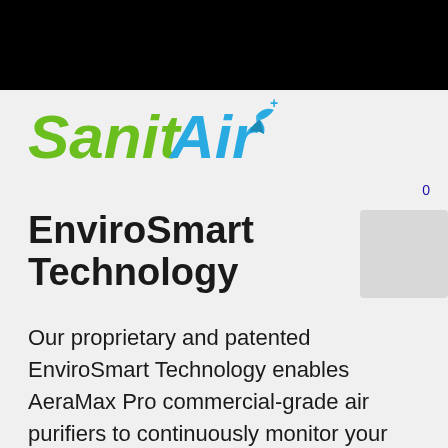[Figure (logo): SanitAir logo with green italic 'Sanit' text and blue 'Air' text with a blue bird/plus symbol]
0
EnviroSmart Technology
Our proprietary and patented EnviroSmart Technology enables AeraMax Pro commercial-grade air purifiers to continuously monitor your environment and automatically adjust to clean the air, conserve energy and reduce operating